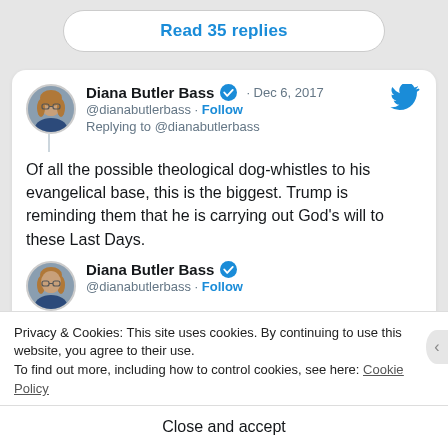Read 35 replies
[Figure (screenshot): Tweet from Diana Butler Bass (@dianabutlerbass) dated Dec 6, 2017. Replying to @dianabutlerbass. Text: Of all the possible theological dog-whistles to his evangelical base, this is the biggest. Trump is reminding them that he is carrying out God's will to these Last Days.]
[Figure (screenshot): Second tweet header from Diana Butler Bass (@dianabutlerbass) with Follow link, partially visible.]
Privacy & Cookies: This site uses cookies. By continuing to use this website, you agree to their use. To find out more, including how to control cookies, see here: Cookie Policy
Close and accept